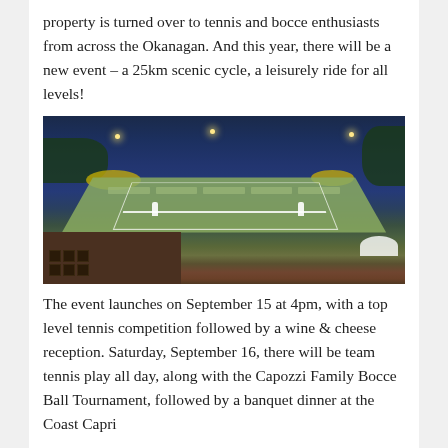property is turned over to tennis and bocce enthusiasts from across the Okanagan. And this year, there will be a new event – a 25km scenic cycle, a leisurely ride for all levels!
[Figure (photo): Aerial evening photo of illuminated outdoor tennis courts with two players mid-game, surrounded by trees with yellow flowers, sponsor banners along the fence, a building in the foreground lower-left, and spectators with an umbrella at lower-right.]
The event launches on September 15 at 4pm, with a top level tennis competition followed by a wine & cheese reception. Saturday, September 16, there will be team tennis play all day, along with the Capozzi Family Bocce Ball Tournament, followed by a banquet dinner at the Coast Capri